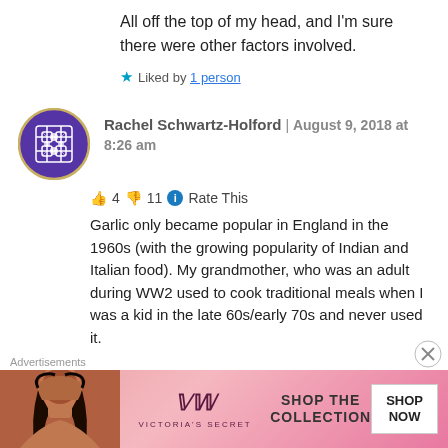All off the top of my head, and I'm sure there were other factors involved.
★ Liked by 1 person
Rachel Schwartz-Holford | August 9, 2018 at 8:26 am
👍 4 👎 11 ℹ Rate This
Garlic only became popular in England in the 1960s (with the growing popularity of Indian and Italian food). My grandmother, who was an adult during WW2 used to cook traditional meals when I was a kid in the late 60s/early 70s and never used it.
Advertisements
[Figure (other): Victoria's Secret advertisement banner with model photo, logo, 'SHOP THE COLLECTION' text and 'SHOP NOW' button]